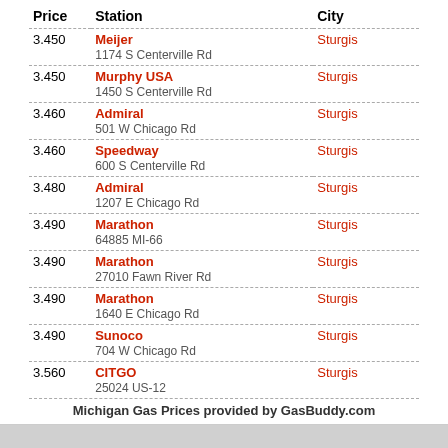| Price | Station | City |
| --- | --- | --- |
| 3.450 | Meijer
1174 S Centerville Rd | Sturgis |
| 3.450 | Murphy USA
1450 S Centerville Rd | Sturgis |
| 3.460 | Admiral
501 W Chicago Rd | Sturgis |
| 3.460 | Speedway
600 S Centerville Rd | Sturgis |
| 3.480 | Admiral
1207 E Chicago Rd | Sturgis |
| 3.490 | Marathon
64885 MI-66 | Sturgis |
| 3.490 | Marathon
27010 Fawn River Rd | Sturgis |
| 3.490 | Marathon
1640 E Chicago Rd | Sturgis |
| 3.490 | Sunoco
704 W Chicago Rd | Sturgis |
| 3.560 | CITGO
25024 US-12 | Sturgis |
Michigan Gas Prices provided by GasBuddy.com